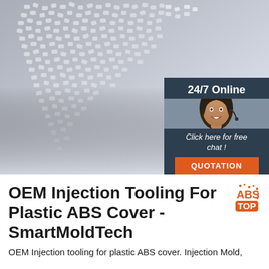[Figure (photo): Close-up photo of white/grey plastic ABS pellets/granules scattered on a light grey surface, with a customer service chat widget overlay on the right side showing a woman with a headset and '24/7 Online' text, 'Click here for free chat!' and an orange 'QUOTATION' button.]
OEM Injection Tooling For Plastic ABS Cover - SmartMoldTech
OEM Injection tooling for plastic ABS cover. Injection Mold,